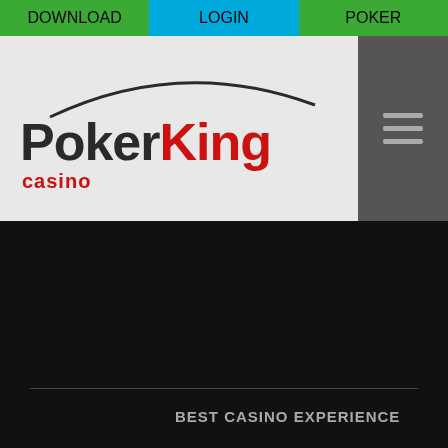DOWNLOAD | LOGIN | POKER
[Figure (logo): PokerKing Casino logo with arc graphic above text on light grey background]
[Figure (other): Hamburger menu icon (three horizontal lines) on dark grey background]
[Figure (photo): Large dark/black background hero image area]
BEST CASINO EXPERIENCE